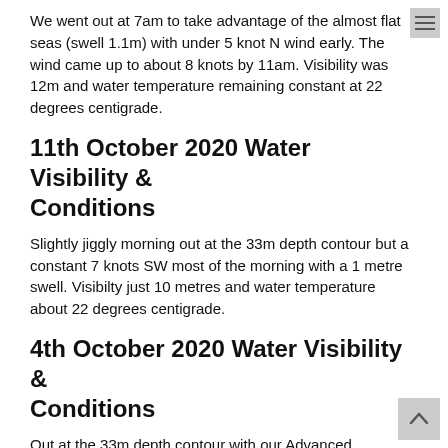We went out at 7am to take advantage of the almost flat seas (swell 1.1m) with under 5 knot N wind early. The wind came up to about 8 knots by 11am. Visibility was 12m and water temperature remaining constant at 22 degrees centigrade.
11th October 2020 Water Visibility & Conditions
Slightly jiggly morning out at the 33m depth contour but a constant 7 knots SW most of the morning with a 1 metre swell. Visibilty just 10 metres and water temperature about 22 degrees centigrade.
4th October 2020 Water Visibility & Conditions
Out at the 33m depth contour with our Advanced Freedivers. A pleasant morning with a 5 knots E varying to up to 9 knots NE later in the morning. Swell below one metre. Visibility about 10 metres. Water temperature 22 degrees centigrade.
27th September 2020 Water